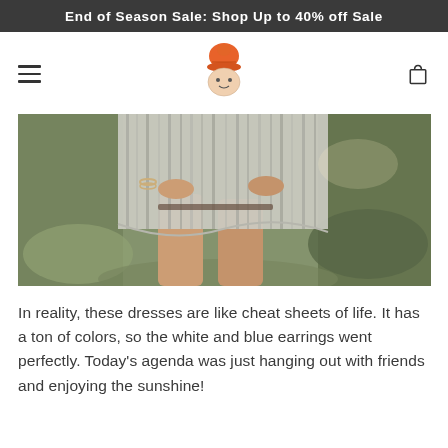End of Season Sale: Shop Up to 40% off Sale
[Figure (logo): Orange acorn/gnome-shaped brand logo in center of navigation bar]
[Figure (photo): Close-up photo of a woman wearing a striped white and grey loose dress, holding the hem, standing on grass in sunlight with bracelets on her wrist]
In reality, these dresses are like cheat sheets of life. It has a ton of colors, so the white and blue earrings went perfectly. Today’s agenda was just hanging out with friends and enjoying the sunshine!